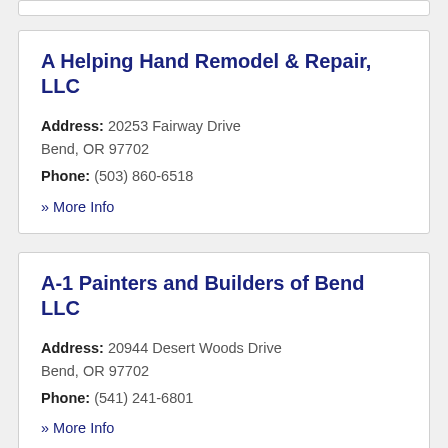A Helping Hand Remodel & Repair, LLC
Address: 20253 Fairway Drive Bend, OR 97702
Phone: (503) 860-6518
» More Info
A-1 Painters and Builders of Bend LLC
Address: 20944 Desert Woods Drive Bend, OR 97702
Phone: (541) 241-6801
» More Info